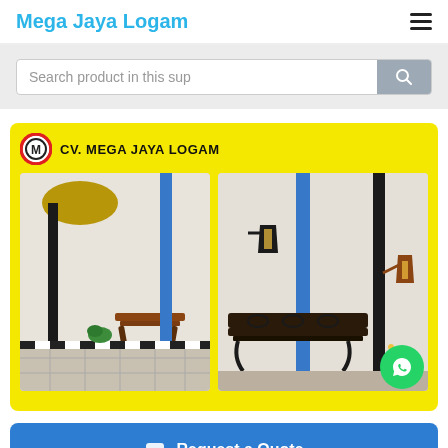Mega Jaya Logam
Search product in this sup
[Figure (photo): Yellow banner showing CV. Mega Jaya Logam logo and two photos: (left) outdoor park bench on tiled floor with decorative lamp post and golden dome; (right) wrought iron wall-mounted lanterns and decorative bench against white wall.]
Request a Quote